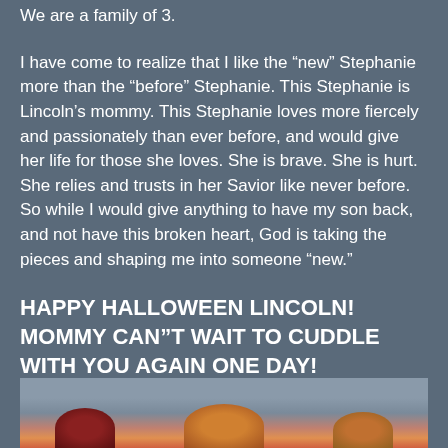We are a family of 3.
I have come to realize that I like the “new” Stephanie more than the “before” Stephanie. This Stephanie is Lincoln’s mommy. This Stephanie loves more fiercely and passionately than ever before, and would give her life for those she loves. She is brave. She is hurt. She relies and trusts in her Savior like never before. So while I would give anything to have my son back, and not have this broken heart, God is taking the pieces and shaping me into someone “new.”
HAPPY HALLOWEEN LINCOLN! MOMMY CAN”T WAIT TO CUDDLE WITH YOU AGAIN ONE DAY!
[Figure (photo): Partial photo visible at the bottom of the page showing figures, partially cropped]